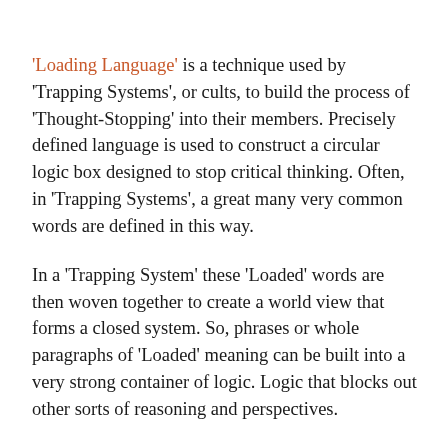'Loading Language' is a technique used by 'Trapping Systems', or cults, to build the process of 'Thought-Stopping' into their members. Precisely defined language is used to construct a circular logic box designed to stop critical thinking. Often, in 'Trapping Systems', a great many very common words are defined in this way.
In a 'Trapping System' these 'Loaded' words are then woven together to create a world view that forms a closed system. So, phrases or whole paragraphs of 'Loaded' meaning can be built into a very strong container of logic. Logic that blocks out other sorts of reasoning and perspectives.
Members are trained to use 'Thought Stopping' techniques such as circular logic, meditation,